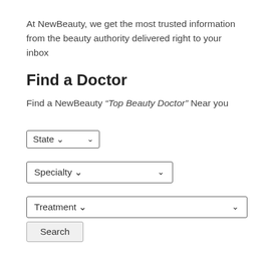At NewBeauty, we get the most trusted information from the beauty authority delivered right to your inbox
Find a Doctor
Find a NewBeauty “Top Beauty Doctor” Near you
State ∨ (dropdown)
Specialty (dropdown)
Treatment (dropdown)
Search (button)